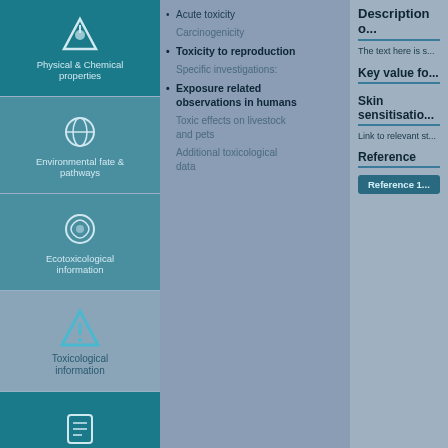Physical & Chemical properties
Environmental fate & pathways
Ecotoxicological information
Toxicological information
Acute toxicity
Carcinogenicity
Toxicity to reproduction
Specific investigations
Exposure related observations in humans
Toxic effects on livestock and pets
Additional toxicological data
Description o...
The text here is s...
Key value fo...
Skin sensitisatio...
Link to relevant st...
Reference
Reference 1...